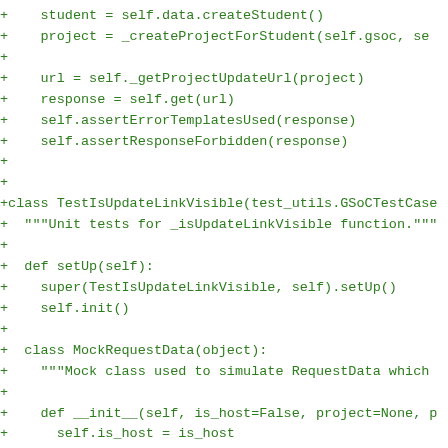[Figure (screenshot): Code diff screenshot showing Python test code in green monospace font on white background. Lines prefixed with '+' showing additions to a test file including class TestIsUpdateLinkVisible and MockRequestData definitions.]